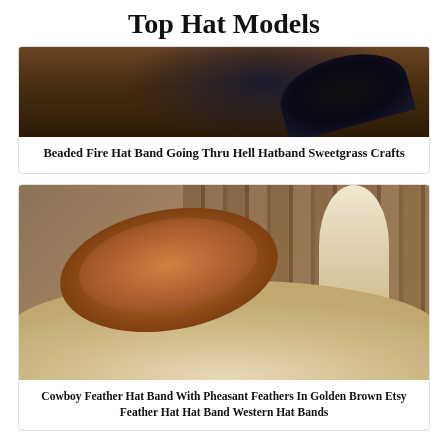Top Hat Models
[Figure (photo): Close-up photo of dark cowboy hats on a wooden surface]
Beaded Fire Hat Band Going Thru Hell Hatband Sweetgrass Crafts
[Figure (photo): White straw cowboy hat decorated with pheasant feathers in golden brown tones with dark spots, laid on rustic wooden background]
Cowboy Feather Hat Band With Pheasant Feathers In Golden Brown Etsy Feather Hat Hat Band Western Hat Bands